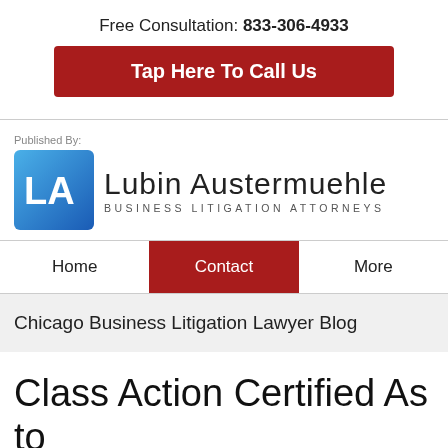Free Consultation: 833-306-4933
Tap Here To Call Us
[Figure (logo): Lubin Austermuehle Business Litigation Attorneys logo with blue LA icon]
Home | Contact | More (navigation bar)
Chicago Business Litigation Lawyer Blog
Class Action Certified As to